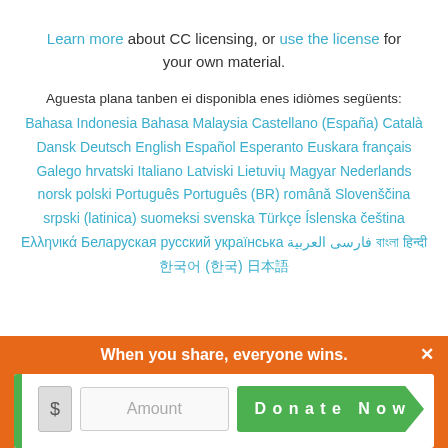Learn more about CC licensing, or use the license for your own material.
Aguesta plana tanben ei disponibla enes idiòmes següents:
Bahasa Indonesia Bahasa Malaysia Castellano (España) Català Dansk Deutsch English Español Esperanto Euskara français Galego hrvatski Italiano Latviski Lietuvių Magyar Nederlands norsk polski Português Português (BR) română Slovenščina srpski (latinica) suomeksi svenska Türkçe Íslenska čeština Ελληνικά Беларуская русский українська فارسی العربية বাংলা हिन्दी 한국어 (한국) 日本語
When you share, everyone wins.
$ Amount  Donate Now